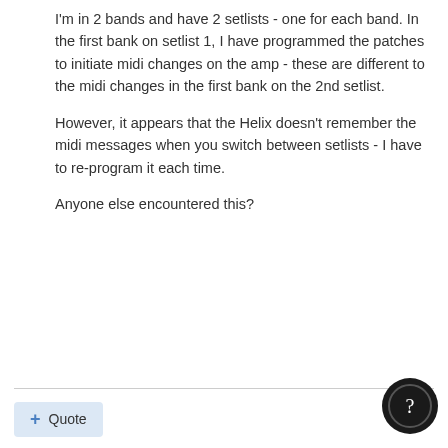I'm in 2 bands and have 2 setlists - one for each band. In the first bank on setlist 1, I have programmed the patches to initiate midi changes on the amp - these are different to the midi changes in the first bank on the 2nd setlist.
However, it appears that the Helix doesn't remember the midi messages when you switch between setlists - I have to re-program it each time.
Anyone else encountered this?
[Figure (illustration): Forum quote button with plus icon and 'Quote' text on light blue background]
[Figure (illustration): User avatar for Digital_Igloo - dark blue globe/sphere icon with small shield badge and purple flame badge]
Digital_Igloo
Posted July 4, 2016
Setlists themselves don't store anything (except for custom